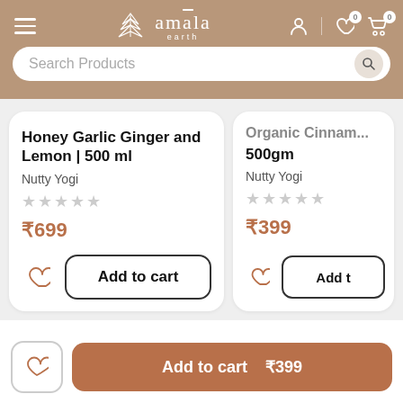amala earth — Search Products
Apple Cider Vinegar | Honey Garlic Ginger and Lemon | 500 ml
Nutty Yogi
★★★★★
₹699
Organic Cinnamon 500gm
Nutty Yogi
★★★★★
₹399
Amala Earth Recommendations
Add to cart  ₹399